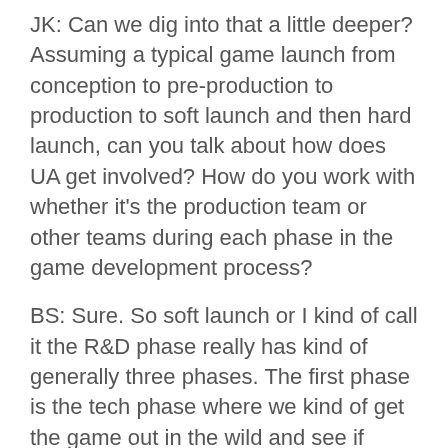JK: Can we dig into that a little deeper? Assuming a typical game launch from conception to pre-production to production to soft launch and then hard launch, can you talk about how does UA get involved? How do you work with whether it's the production team or other teams during each phase in the game development process?
BS: Sure. So soft launch or I kind of call it the R&D phase really has kind of generally three phases. The first phase is the tech phase where we kind of get the game out in the wild and see if there are any bugs. In this case UA is basically trying to get enough users to make sure we can get a good read on the technology. Second phase is generally early retention and so from a UA standpoint we are trying to drive cheaper installs between tier 2 tier 3 countries with a focus on getting statistical significance on retention. We're not necessarily focused on what's happening later in the funnel, we're not